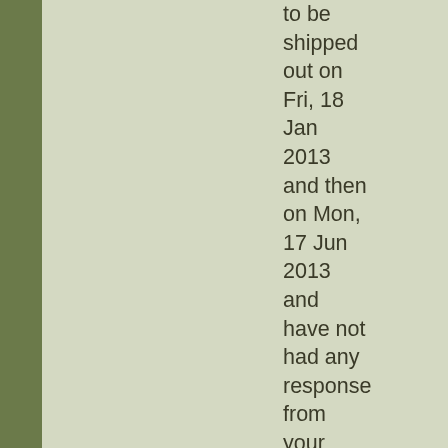to be shipped out on Fri, 18 Jan 2013 and then on Mon, 17 Jun 2013 and have not had any response from your email so i thought I might catch you here.

Base Pads - I don't have any on my mags, make